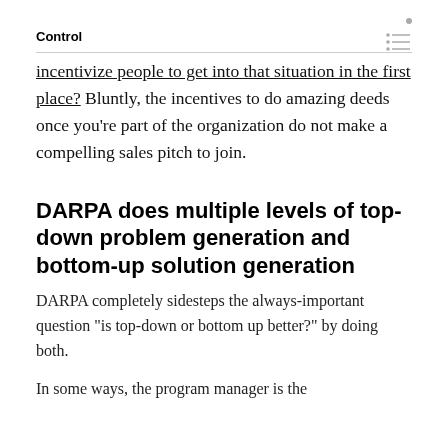Control
incentivize people to get into that situation in the first place? Bluntly, the incentives to do amazing deeds once you’re part of the organization do not make a compelling sales pitch to join.
DARPA does multiple levels of top-down problem generation and bottom-up solution generation
DARPA completely sidesteps the always-important question “is top-down or bottom up better?” by doing both.
In some ways, the program manager is the